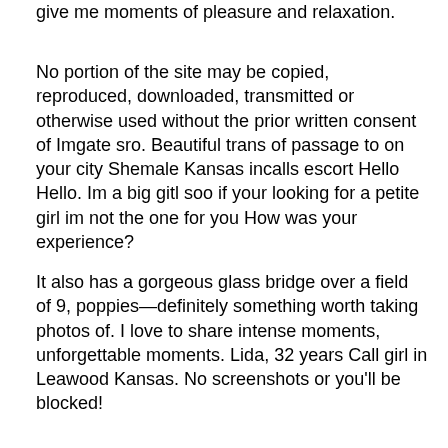give me moments of pleasure and relaxation.
No portion of the site may be copied, reproduced, downloaded, transmitted or otherwise used without the prior written consent of Imgate sro. Beautiful trans of passage to on your city Shemale Kansas incalls escort Hello Hello. Im a big gitl soo if your looking for a petite girl im not the one for you How was your experience?
It also has a gorgeous glass bridge over a field of 9, poppies—definitely something worth taking photos of. I love to share intense moments, unforgettable moments. Lida, 32 years Call girl in Leawood Kansas. No screenshots or you'll be blocked!